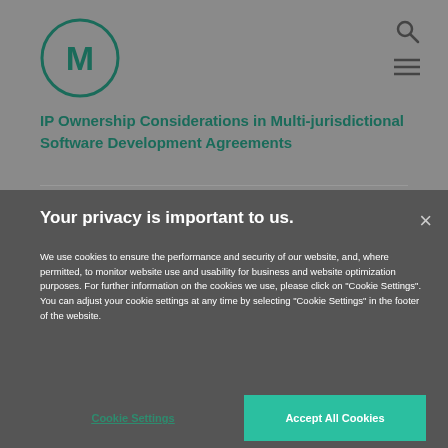[Figure (logo): Circular logo with letter M in dark teal green]
IP Ownership Considerations in Multi-jurisdictional Software Development Agreements
Your privacy is important to us.
We use cookies to ensure the performance and security of our website, and, where permitted, to monitor website use and usability for business and website optimization purposes. For further information on the cookies we use, please click on "Cookie Settings". You can adjust your cookie settings at any time by selecting "Cookie Settings" in the footer of the website.
Cookie Settings
Accept All Cookies